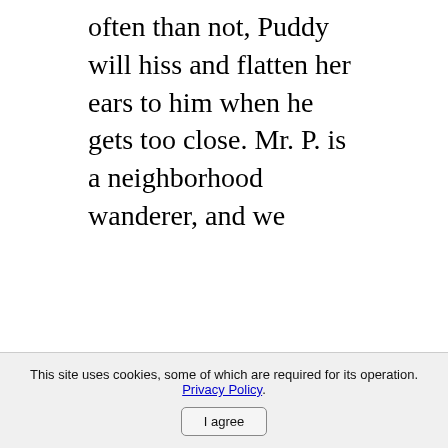often than not, Puddy will hiss and flatten her ears to him when he gets too close. Mr. P. is a neighborhood wanderer, and we
This site uses cookies, some of which are required for its operation. Privacy Policy. I agree